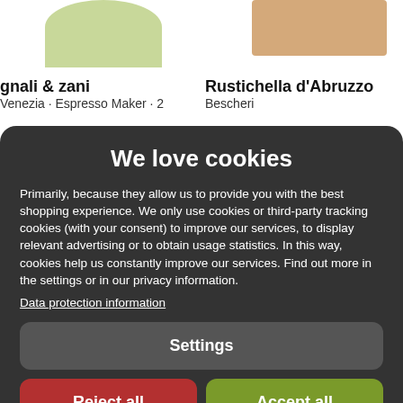[Figure (screenshot): Partial e-commerce product listing showing two products: 'gnali & zani' with 'Venezia · Espresso Maker · 2' and 'Rustichella d'Abruzzo' with 'Bescheri', with product images partially visible at top]
We love cookies
Primarily, because they allow us to provide you with the best shopping experience. We only use cookies or third-party tracking cookies (with your consent) to improve our services, to display relevant advertising or to obtain usage statistics. In this way, cookies help us constantly improve our services. Find out more in the settings or in our privacy information.
Data protection information